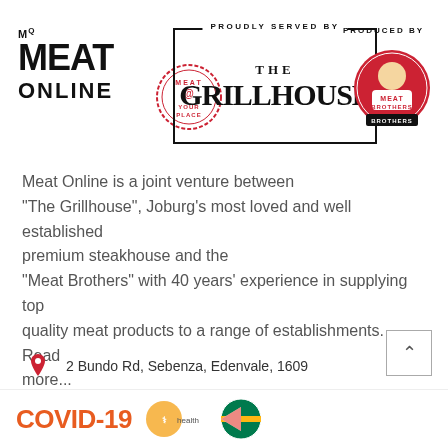[Figure (logo): Meat Online logo with M superscript and stamp circle reading MEAT @ YOUR PLACE]
[Figure (logo): The Grillhouse logo in a bordered box with PROUDLY SERVED BY label at top]
[Figure (logo): Meat Brothers circular logo with PRODUCED BY label above]
Meat Online is a joint venture between "The Grillhouse", Joburg's most loved and well established premium steakhouse and the "Meat Brothers" with 40 years' experience in supplying top quality meat products to a range of establishments. Read more...
2 Bundo Rd, Sebenza, Edenvale, 1609
Phone: 010-594-9756
Email: info@meat-online.co.za
[Figure (logo): COVID-19 and health department logos at the bottom footer]